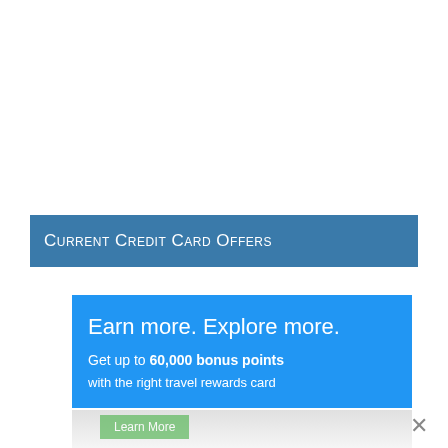Current Credit Card Offers
[Figure (infographic): Credit card advertisement banner in blue. Tagline: 'Earn more. Explore more.' Offer text: 'Get up to 60,000 bonus points with the right travel rewards card'. Contains a 'Learn More' button at the bottom and a close (X) button in the lower right corner.]